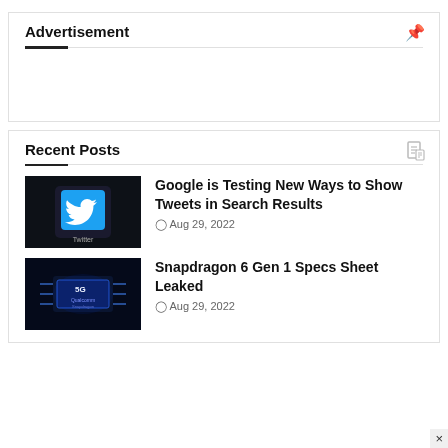Advertisement
[Figure (other): Advertisement placeholder area]
Recent Posts
[Figure (photo): Twitter logo on smartphone screen]
Google is Testing New Ways to Show Tweets in Search Results
Aug 29, 2022
[Figure (photo): Qualcomm Snapdragon 5G chip with blue lighting]
Snapdragon 6 Gen 1 Specs Sheet Leaked
Aug 29, 2022